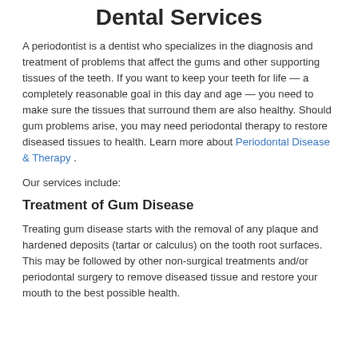Dental Services
A periodontist is a dentist who specializes in the diagnosis and treatment of problems that affect the gums and other supporting tissues of the teeth. If you want to keep your teeth for life — a completely reasonable goal in this day and age — you need to make sure the tissues that surround them are also healthy. Should gum problems arise, you may need periodontal therapy to restore diseased tissues to health. Learn more about Periodontal Disease & Therapy .
Our services include:
Treatment of Gum Disease
Treating gum disease starts with the removal of any plaque and hardened deposits (tartar or calculus) on the tooth root surfaces. This may be followed by other non-surgical treatments and/or periodontal surgery to remove diseased tissue and restore your mouth to the best possible health.